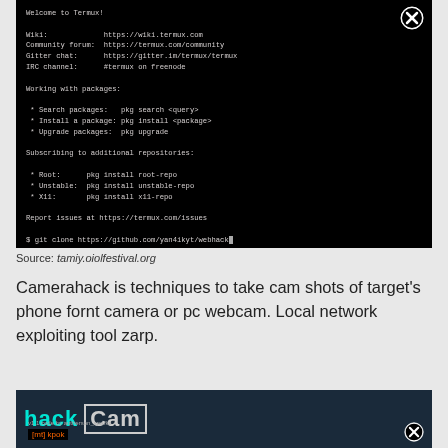[Figure (screenshot): Termux terminal welcome screen showing wiki, community forum, gitter chat, IRC channel links, package management instructions, repository subscription commands, and a git clone command at the bottom. A close (X) button overlay is in the top right corner.]
Source: tamiy.oiolfestival.org
Camerahack is techniques to take cam shots of target's phone fornt camera or pc webcam. Local network exploiting tool zarp.
[Figure (screenshot): hack Cam tool interface with teal/cyan styled 'hack' text and grey bordered 'Cam' text. Shows 'v1.1 code by autherson_sparks', a label [mt] kpok in orange, and a close (X) button overlay at bottom right.]